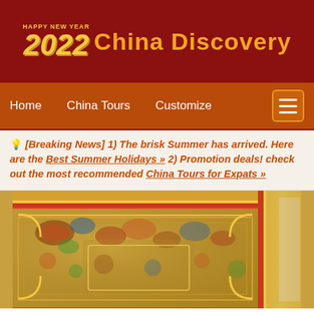[Figure (logo): China Discovery website header with Happy New Year 2022 logo on dark red background. Yellow '2022' in stylized italic font next to 'China Discovery' in orange bold text.]
Home   China Tours   Customize
💡 [Breaking News] 1) The brisk Summer has arrived. Here are the Best Summer Holidays » 2) Promotion deals! check out the most recommended China Tours for Expats »
[Figure (photo): Interior photo of ornate Chinese-style decorated ceiling with gold and colorful patterns, blurred background.]